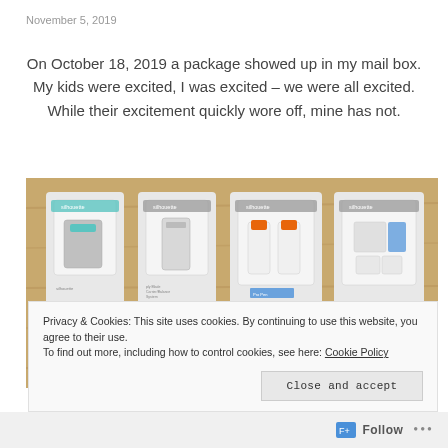November 5, 2019
On October 18, 2019 a package showed up in my mail box. My kids were excited, I was excited – we were all excited. While their excitement quickly wore off, mine has not.
[Figure (photo): Four Silhouette brand product packages arranged on a wooden surface, showing various cutting tools and accessories.]
Privacy & Cookies: This site uses cookies. By continuing to use this website, you agree to their use.
To find out more, including how to control cookies, see here: Cookie Policy
Close and accept
Follow ...